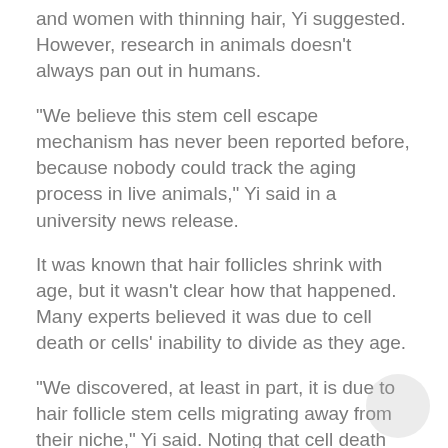and women with thinning hair, Yi suggested. However, research in animals doesn't always pan out in humans.
"We believe this stem cell escape mechanism has never been reported before, because nobody could track the aging process in live animals," Yi said in a university news release.
It was known that hair follicles shrink with age, but it wasn't clear how that happened. Many experts believed it was due to cell death or cells' inability to divide as they age.
"We discovered, at least in part, it is due to hair follicle stem cells migrating away from their niche," Yi said. Noting that cell death also occurred during their observation, he added, "Our discovery doesn't dispute existing theories but provides a new mechanism."